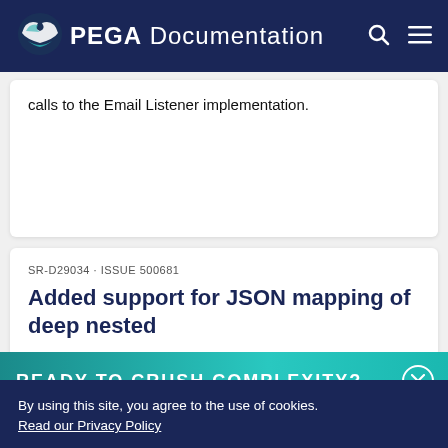PEGA Documentation
calls to the Email Listener implementation.
SR-D29034 · ISSUE 500681
Added support for JSON mapping of deep nested
READY TO CRUSH COMPLEXITY?
By using this site, you agree to the use of cookies. Read our Privacy Policy
Accept and continue   About cookies